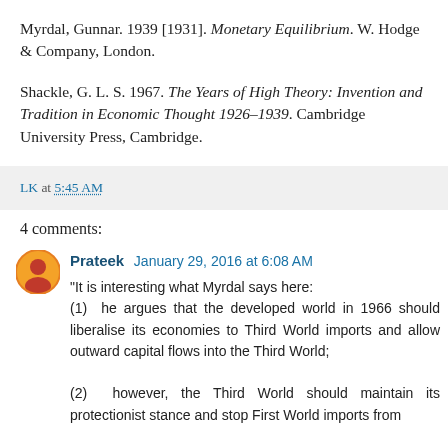Myrdal, Gunnar. 1939 [1931]. Monetary Equilibrium. W. Hodge & Company, London.
Shackle, G. L. S. 1967. The Years of High Theory: Invention and Tradition in Economic Thought 1926–1939. Cambridge University Press, Cambridge.
LK at 5:45 AM
4 comments:
Prateek  January 29, 2016 at 6:08 AM
"It is interesting what Myrdal says here:
(1) he argues that the developed world in 1966 should liberalise its economies to Third World imports and allow outward capital flows into the Third World;
(2) however, the Third World should maintain its protectionist stance and stop First World imports from